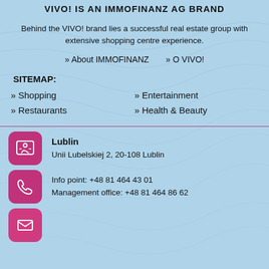VIVO! IS AN IMMOFINANZ AG BRAND
Behind the VIVO! brand lies a successful real estate group with extensive shopping centre experience.
» About IMMOFINANZ   » O VIVO!
SITEMAP:
» Shopping
» Entertainment
» Restaurants
» Health & Beauty
Lublin
Unii Lubelskiej 2, 20-108 Lublin
Info point: +48 81 464 43 01
Management office: +48 81 464 86 62